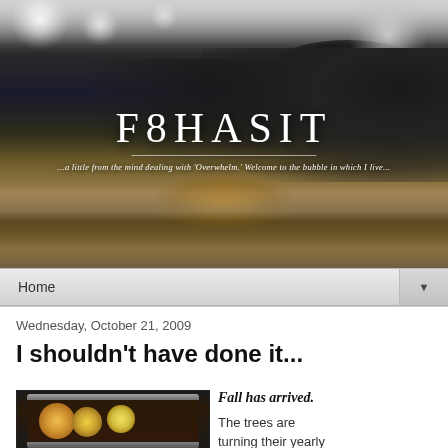[Figure (photo): Blog header banner showing a dramatic sunset beach scene with dark storm clouds, ocean waves, and warm golden light on the sand. White bokeh circles visible at top.]
F8HASIT
...a little from the mind dealing with 'Overwhelm.' Welcome to the bubble in which I live...
Home
Wednesday, October 21, 2009
I shouldn't have done it...
[Figure (photo): Photo of a pot or bowl containing citrus slices (orange and lemon) in liquid, viewed from above, on dark background.]
Fall has arrived.

The trees are turning their yearly...